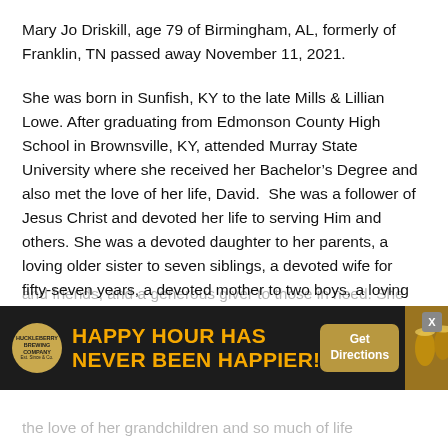Mary Jo Driskill, age 79 of Birmingham, AL, formerly of Franklin, TN passed away November 11, 2021.
She was born in Sunfish, KY to the late Mills & Lillian Lowe. After graduating from Edmonson County High School in Brownsville, KY, attended Murray State University where she received her Bachelor's Degree and also met the love of her life, David.  She was a follower of Jesus Christ and devoted her life to serving Him and others. She was a devoted daughter to her parents, a loving older sister to seven siblings, a devoted wife for fifty-seven years, a devoted mother to two boys, a loving grandmother to six grandchildren, a loving friend to her church family and friends, and a generous giver to those in need. She
[Figure (other): Advertisement banner for Huckleberry bar/brewery — dark background with orange bold text 'HAPPY HOUR HAS NEVER BEEN HAPPIER!' and a 'Get Directions' button, with a circular logo on the left and a photo of drinks on the right. A close button (X) appears in the top-right corner.]
the love of her grandchildren and so much of life